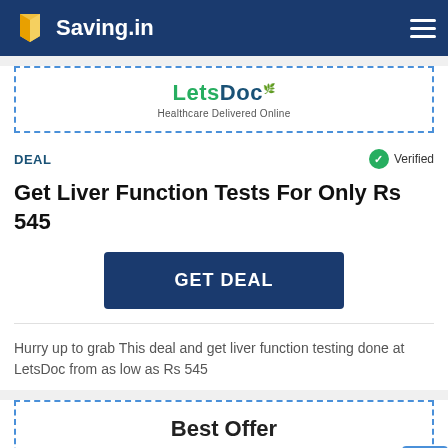Saving.in
[Figure (logo): LetsDoc - Healthcare Delivered Online logo inside dashed border]
DEAL
Verified
Get Liver Function Tests For Only Rs 545
GET DEAL
Hurry up to grab This deal and get liver function testing done at LetsDoc from as low as Rs 545
Best Offer